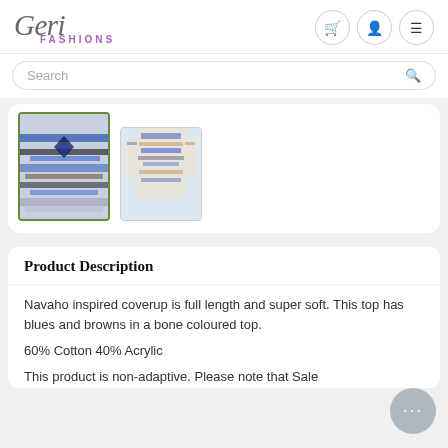Geri FASHIONS
Search
[Figure (photo): Two thumbnail images of a Navaho-inspired patterned coverup top — first thumbnail selected (green border), showing close-up of blue and brown pattern; second thumbnail showing full garment view.]
Product Description
Navaho inspired coverup is full length and super soft. This top has blues and browns in a bone coloured top.

60% Cotton 40% Acrylic

This product is non-adaptive. Please note that Sale